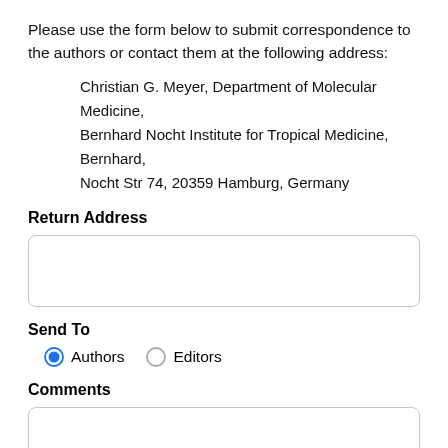Please use the form below to submit correspondence to the authors or contact them at the following address:
Christian G. Meyer, Department of Molecular Medicine, Bernhard Nocht Institute for Tropical Medicine, Bernhard, Nocht Str 74, 20359 Hamburg, Germany
Return Address
[Figure (other): Empty text input box for return address]
Send To
Authors (selected) / Editors (radio buttons)
Comments
[Figure (other): Empty textarea for comments]